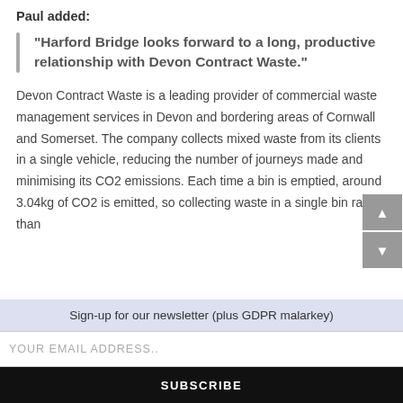Paul added:
“Harford Bridge looks forward to a long, productive relationship with Devon Contract Waste.”
Devon Contract Waste is a leading provider of commercial waste management services in Devon and bordering areas of Cornwall and Somerset. The company collects mixed waste from its clients in a single vehicle, reducing the number of journeys made and minimising its CO2 emissions. Each time a bin is emptied, around 3.04kg of CO2 is emitted, so collecting waste in a single bin rather than
Sign-up for our newsletter (plus GDPR malarkey)
YOUR EMAIL ADDRESS..
SUBSCRIBE